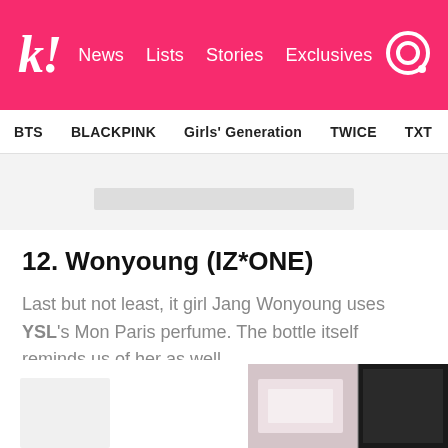k! News Lists Stories Exclusives
BTS BLACKPINK Girls' Generation TWICE TXT SEVE
[Figure (photo): Partial product image at top of article, light gray background]
12. Wonyoung (IZ*ONE)
Last but not least, it girl Jang Wonyoung uses YSL's Mon Paris perfume. The bottle itself reminds us of her as well.
[Figure (photo): Bottom portion showing two product images: a light-colored product on the left and a YSL Mon Paris perfume box on the right]